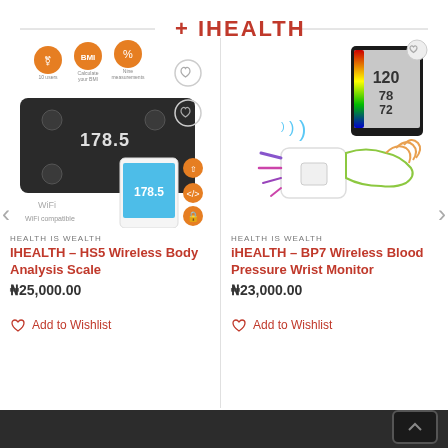+ IHEALTH
[Figure (photo): iHealth HS5 Wireless Body Analysis Scale product image showing a black smart scale with a smartphone displaying 178.5 reading, orange feature icons (10 users, Calculate your BMI, Nine measurements), share and security icons, WiFi connectivity icon]
HEALTH IS WEALTH
IHEALTH – HS5 Wireless Body Analysis Scale
₦25,000.00
♡  Add to Wishlist
[Figure (photo): iHealth BP7 Wireless Blood Pressure Wrist Monitor product image showing a white wrist cuff device with WiFi symbol, tablet showing blood pressure readings 120/78/72, and an illustrated hand wearing the device]
HEALTH IS WEALTH
iHEALTH – BP7 Wireless Blood Pressure Wrist Monitor
₦23,000.00
♡  Add to Wishlist